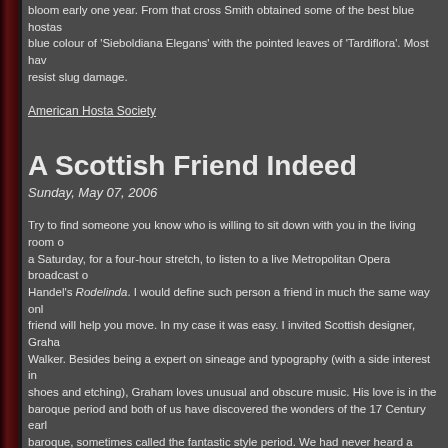bloom early one year. From that cross Smith obtained some of the best blue hostas... blue colour of 'Sieboldiana Elegans' with the pointed leaves of 'Tardiflora'. Most have resist slug damage.
American Hosta Society
A Scottish Friend Indeed
Sunday, May 07, 2006
Try to find someone you know who is willing to sit down with you in the living room on a Saturday, for a four-hour stretch, to listen to a live Metropolitan Opera broadcast of Handel's Rodelinda. I would define such person a friend in much the same way only a friend will help you move. In my case it was easy. I invited Scottish designer, Graham Walker. Besides being a expert on sineage and typography (with a side interest in shoes and etching), Graham loves unusual and obscure music. His love is in the baroque period and both of us have discovered the wonders of the 17 Century early baroque, sometimes called the fantastic style period. We had never heard a whole rendition of Rodelinda so the prospect of hearing this one with soprano Renée Fleming and countertenor Andreas Scholl was too good to miss. Somehow both Rebecca and Lauren (3½)walked in and out of the living room so they got a bit of Handel. Plata, my female cat was partial to Handel, too as she sat on my lap. We ate what was left of lunch, deviled eggs and cucumber sandwiches which we washed down with a pot of strong Earl Grey. Graham brought some sweets.
Fantastic Style